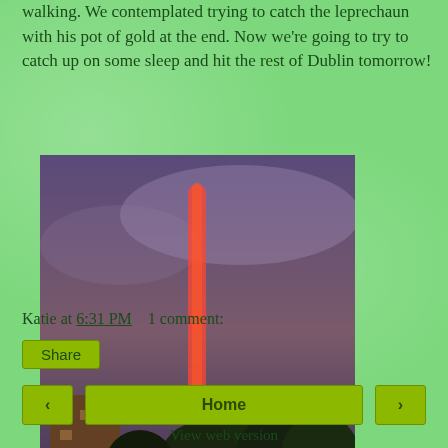walking. We contemplated trying to catch the leprechaun with his pot of gold at the end. Now we're going to try to catch up on some sleep and hit the rest of Dublin tomorrow!
[Figure (photo): Photograph of a rainbow in a dusky sky over urban buildings and trees in Dublin, with orange/red hues]
Katie at 6:31 PM    1 comment:
Share
< Home >
View web version